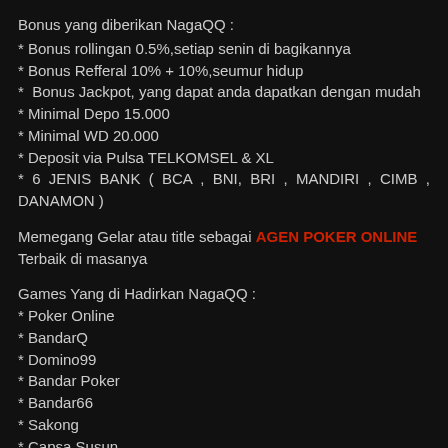Bonus yang diberikan NagaQQ :
* Bonus rollingan 0.5%,setiap senin di bagikannya
* Bonus Refferal 10% + 10%,seumur hidup
*  Bonus Jackpot, yang dapat anda dapatkan dengan mudah
* Minimal Depo 15.000
* Minimal WD 20.000
* Deposit via Pulsa TELKOMSEL & XL
* 6 JENIS BANK ( BCA , BNI, BRI , MANDIRI , CIMB , DANAMON )
Memegang Gelar atau title sebagai AGEN POKER ONLINE Terbaik di masanya
Games Yang di Hadirkan NagaQQ :
* Poker Online
* BandarQ
* Domino99
* Bandar Poker
* Bandar66
* Sakong
* Capsa Susun